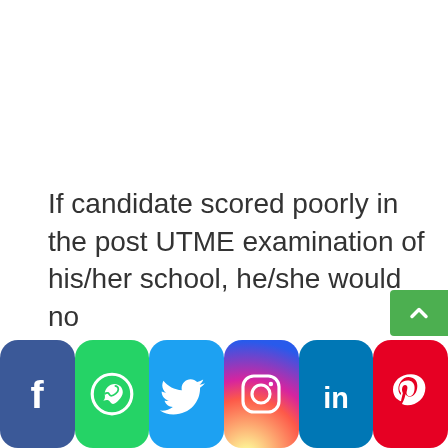If candidate scored poorly in the post UTME examination of his/her school, he/she would no...
[Figure (other): Social media sharing buttons bar: Facebook, WhatsApp, Twitter, Instagram, LinkedIn, Pinterest]